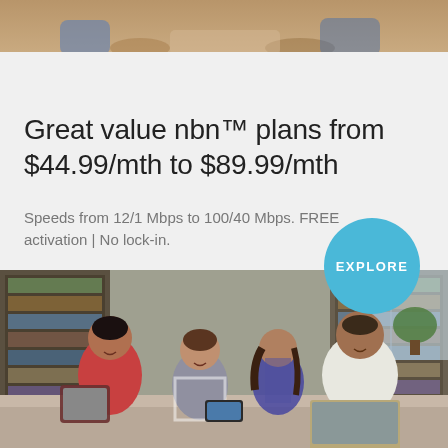[Figure (photo): Partial photo at top of page showing people, cropped]
Great value nbn™ plans from $44.99/mth to $89.99/mth
Speeds from 12/1 Mbps to 100/40 Mbps. FREE activation | No lock-in.
[Figure (other): Circular blue button with text EXPLORE]
[Figure (photo): Family of four (mother, son, daughter, father) sitting on sofa looking at a smartphone together, with a laptop and tablet visible]